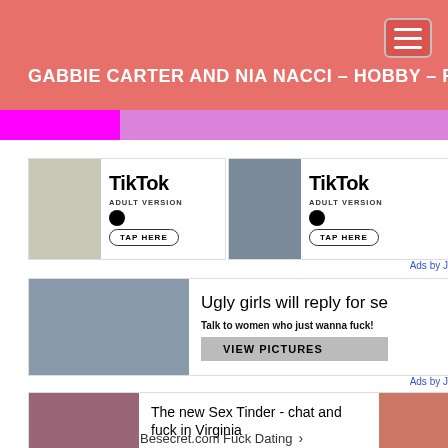GABBIE CARTER AND NIA NACCI - HOBBY - FACIAL
[Figure (photo): TikTok Adult Version advertisement banner - left]
[Figure (photo): TikTok Adult Version advertisement banner - right]
Ads by J
[Figure (photo): Adult dating ad - Ugly girls will reply for sex, Talk to women who just wanna fuck, VIEW PICTURES]
Ads by J
[Figure (photo): The new Sex Tinder - chat and fuck in Virginia - Besecret.com Fuck Dating]
The new Sex Tinder - chat and fuck in Virginia
Besecret.com Fuck Dating